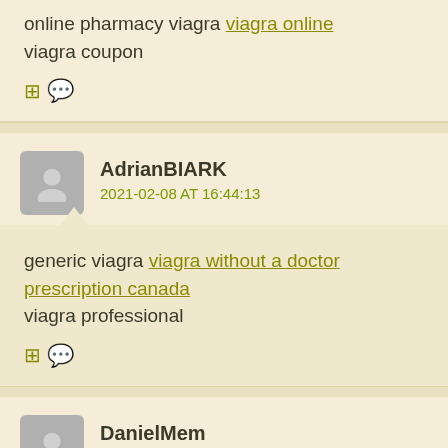online pharmacy viagra viagra online
viagra coupon
AdrianBIARK
2021-02-08 AT 16:44:13
generic viagra viagra without a doctor prescription canada
viagra professional
DanielMem
2021-02-09 AT 23:14:12
the best ed drug – lasix furosemide ed meds pills drugs
new treatments for ed